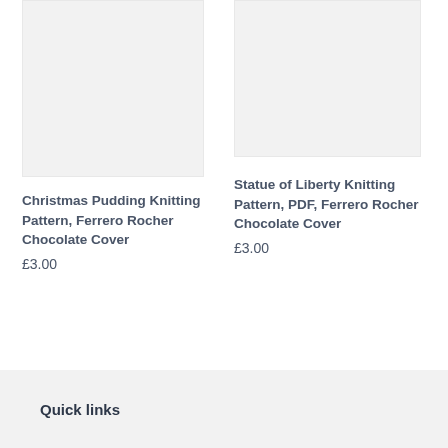[Figure (photo): Placeholder product image for Christmas Pudding Knitting Pattern, light gray background]
Christmas Pudding Knitting Pattern, Ferrero Rocher Chocolate Cover
£3.00
[Figure (photo): Placeholder product image for Statue of Liberty Knitting Pattern, light gray background]
Statue of Liberty Knitting Pattern, PDF, Ferrero Rocher Chocolate Cover
£3.00
Quick links